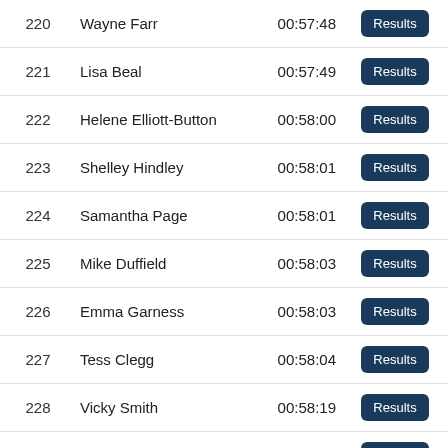| # | Name | Time |  |
| --- | --- | --- | --- |
| 220 | Wayne Farr | 00:57:48 | Results |
| 221 | Lisa Beal | 00:57:49 | Results |
| 222 | Helene Elliott-Button | 00:58:00 | Results |
| 223 | Shelley Hindley | 00:58:01 | Results |
| 224 | Samantha Page | 00:58:01 | Results |
| 225 | Mike Duffield | 00:58:03 | Results |
| 226 | Emma Garness | 00:58:03 | Results |
| 227 | Tess Clegg | 00:58:04 | Results |
| 228 | Vicky Smith | 00:58:19 | Results |
| 229 | Laura Godfrey | 00:58:21 | Results |
| 230 | Stephen Coveney | 00:58:24 | Results |
| 231 | Debs Adcock | 00:58:24 | Results |
| 232 | Fiona Whitaker | 00:58:29 | Results |
| 233 | Philippa Oldridge | 00:58:29 | Results |